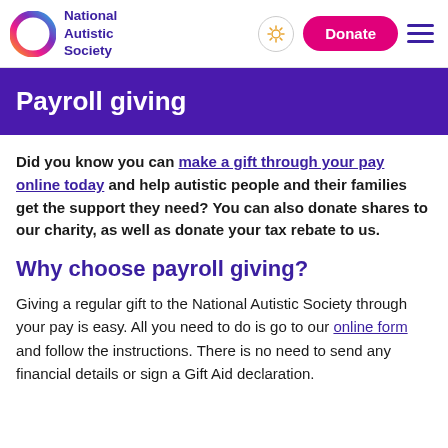National Autistic Society — Payroll giving page header with logo, donate button, and navigation
Payroll giving
Did you know you can make a gift through your pay online today and help autistic people and their families get the support they need? You can also donate shares to our charity, as well as donate your tax rebate to us.
Why choose payroll giving?
Giving a regular gift to the National Autistic Society through your pay is easy. All you need to do is go to our online form and follow the instructions. There is no need to send any financial details or sign a Gift Aid declaration.